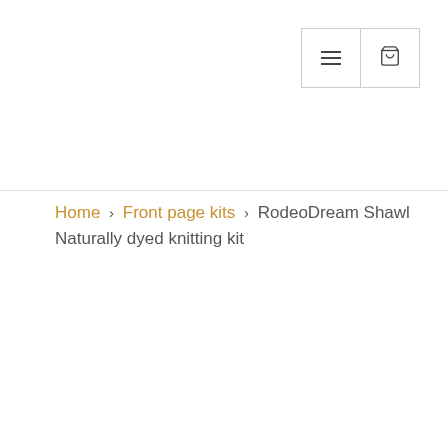[Figure (screenshot): Navigation header with hamburger menu button and shopping cart button]
Home › Front page kits › RodeoDream Shawl Naturally dyed knitting kit